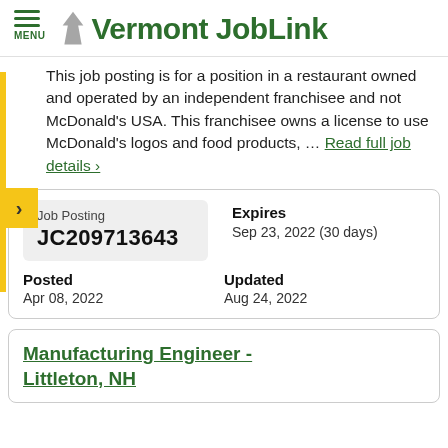Vermont JobLink
This job posting is for a position in a restaurant owned and operated by an independent franchisee and not McDonald’s USA. This franchisee owns a license to use McDonald’s logos and food products, … Read full job details ›
| Job Posting | Expires |
| --- | --- |
| JC209713643 | Sep 23, 2022 (30 days) |
| Posted | Updated |
| --- | --- |
| Apr 08, 2022 | Aug 24, 2022 |
Manufacturing Engineer - Littleton, NH